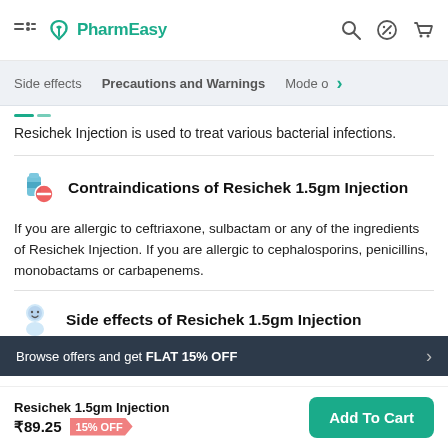PharmEasy
Side effects  Precautions and Warnings  Mode o
Resichek Injection is used to treat various bacterial infections.
Contraindications of Resichek 1.5gm Injection
If you are allergic to ceftriaxone, sulbactam or any of the ingredients of Resichek Injection. If you are allergic to cephalosporins, penicillins, monobactams or carbapenems.
Side effects of Resichek 1.5gm Injection
Browse offers and get FLAT 15% OFF
Resichek 1.5gm Injection
₹89.25  15% OFF